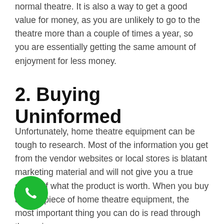normal theatre. It is also a way to get a good value for money, as you are unlikely to go to the theatre more than a couple of times a year, so you are essentially getting the same amount of enjoyment for less money.
2. Buying Uninformed
Unfortunately, home theatre equipment can be tough to research. Most of the information you get from the vendor websites or local stores is blatant marketing material and will not give you a true sense of what the product is worth. When you buy a large piece of home theatre equipment, the most important thing you can do is read through the reviews.
[Figure (illustration): Green circular phone/call button icon in bottom-left corner]